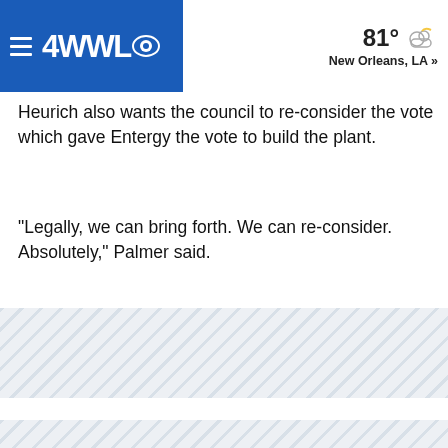4WWL News — 81° New Orleans, LA »
Heurich also wants the council to re-consider the vote which gave Entergy the vote to build the plant.
"Legally, we can bring forth. We can re-consider. Absolutely," Palmer said.
[Figure (other): Advertisement placeholder with diagonal stripe pattern]
[Figure (other): Advertisement placeholder with diagonal stripe pattern]